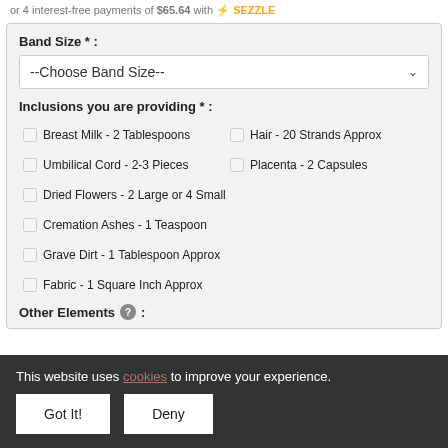or 4 interest-free payments of $65.64 with Sezzle
Band Size * :
--Choose Band Size--
Inclusions you are providing * :
Breast Milk - 2 Tablespoons
Hair - 20 Strands Approx
Umbilical Cord - 2-3 Pieces
Placenta - 2 Capsules
Dried Flowers - 2 Large or 4 Small
Cremation Ashes - 1 Teaspoon
Grave Dirt - 1 Tablespoon Approx
Fabric - 1 Square Inch Approx
Other Elements ⓒ :
This website uses cookies to improve your experience.
Got It!
Deny